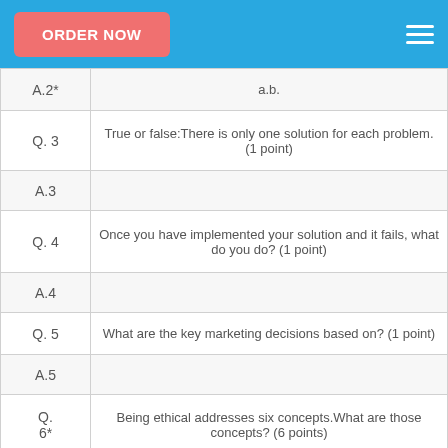ORDER NOW
| Label | Content |
| --- | --- |
| A.2* | a.b. |
| Q. 3 | True or false:There is only one solution for each problem.(1 point) |
| A.3 |  |
| Q. 4 | Once you have implemented your solution and it fails, what do you do? (1 point) |
| A.4 |  |
| Q. 5 | What are the key marketing decisions based on? (1 point) |
| A.5 |  |
| Q. 6* | Being ethical addresses six concepts.What are those concepts? (6 points) |
| A.6* | a.b.c.d.e.f. |